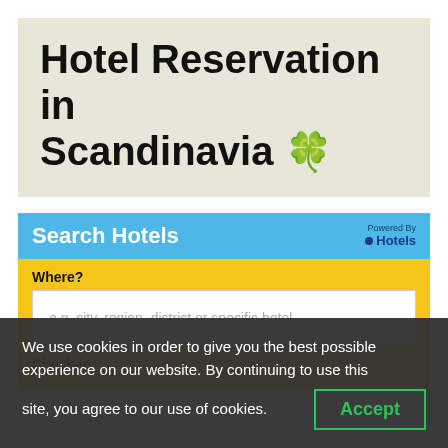Hotel Reservation in Scandinavia 🍀
[Figure (screenshot): Hotel search widget with blue header bar showing 'Search Hotels' and 'Powered By Hotels' branding on yellow background, with 'Where?' label and text input field placeholder 'e.g. city, region, district or specific hotel', and 'Check-in' label below]
We use cookies in order to give you the best possible experience on our website. By continuing to use this site, you agree to our use of cookies.
Accept